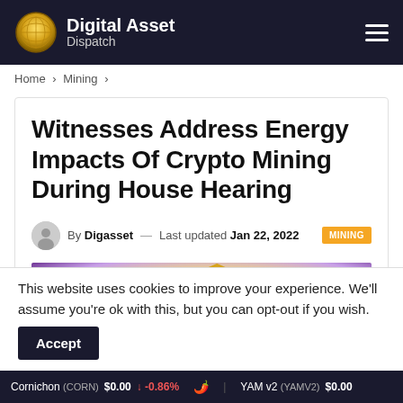Digital Asset Dispatch
Home > Mining >
Witnesses Address Energy Impacts Of Crypto Mining During House Hearing
By Digasset — Last updated Jan 22, 2022  MINING
[Figure (illustration): Illustration of a glowing golden hexagonal coin with geometric pattern radiating light, with a small building/Capitol silhouette at the bottom center]
This website uses cookies to improve your experience. We'll assume you're ok with this, but you can opt-out if you wish.  Accept
Cornichon (CORN) $0.00 ↓ -0.86%   YAM v2 (YAMV2) $0.00